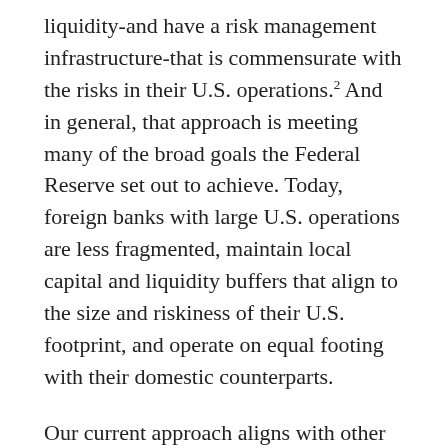liquidity-and have a risk management infrastructure-that is commensurate with the risks in their U.S. operations.2 And in general, that approach is meeting many of the broad goals the Federal Reserve set out to achieve. Today, foreign banks with large U.S. operations are less fragmented, maintain local capital and liquidity buffers that align to the size and riskiness of their U.S. footprint, and operate on equal footing with their domestic counterparts.
Our current approach aligns with other jurisdictions that host a large and complex foreign bank presence. For example, the European subsidiaries of U.S. banking firms have long been subject to Basel-based standards imposed by the European Union and the United Kingdom as host regulators. In addition,